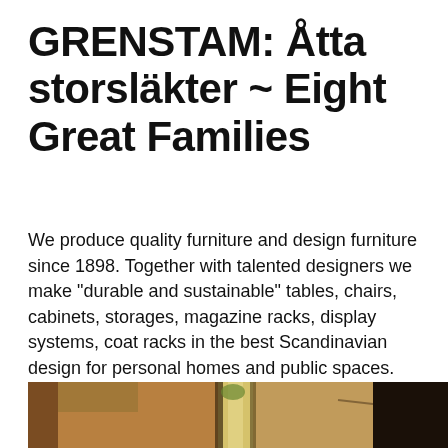GRENSTAM: Åtta storsläkter ~ Eight Great Families
We produce quality furniture and design furniture since 1898. Together with talented designers we make "durable and sustainable" tables, chairs, cabinets, storages, magazine racks, display systems, coat racks in the best Scandinavian design for personal homes and public spaces. Tables.
[Figure (photo): A narrow Mediterranean or Southern European alleyway between warm ochre/terracotta-colored old stone buildings, with bright light visible at the end of the passage and a dark doorway on the right side.]